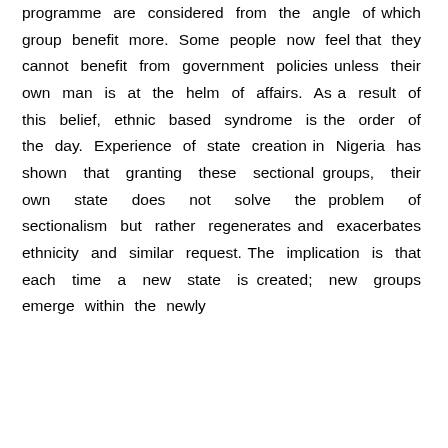programme are considered from the angle of which group benefit more. Some people now feel that they cannot benefit from government policies unless their own man is at the helm of affairs. As a result of this belief, ethnic based syndrome is the order of the day. Experience of state creation in Nigeria has shown that granting these sectional groups, their own state does not solve the problem of sectionalism but rather regenerates and exacerbates ethnicity and similar request. The implication is that each time a new state is created; new groups emerge within the newly